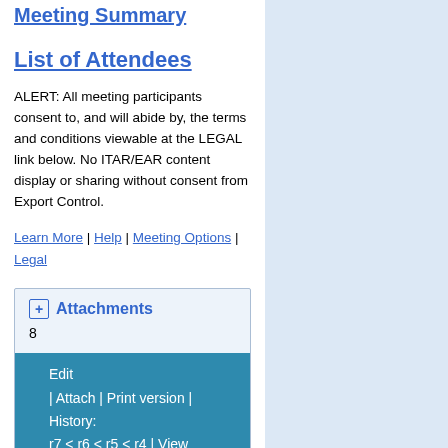Meeting Summary
List of Attendees
ALERT: All meeting participants consent to, and will abide by, the terms and conditions viewable at the LEGAL link below. No ITAR/EAR content display or sharing without consent from Export Control.
Learn More | Help | Meeting Options | Legal
Attachments
8
Edit | Attach | Print version | History: r7 < r6 < r5 < r4 | View